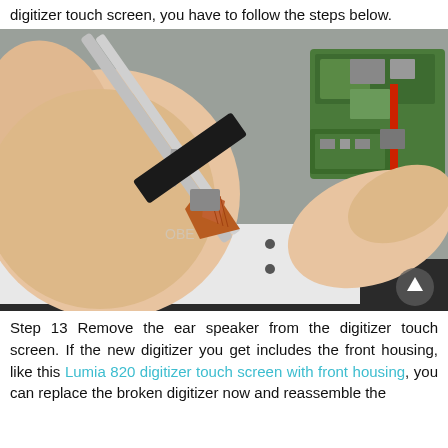digitizer touch screen, you have to follow the steps below.
[Figure (photo): Close-up photo of hands using tweezers to remove the ear speaker from a Nokia Lumia 820 digitizer touch screen. The flex cable/ribbon is visible being pulled away. A green circuit board is visible in the background on a gray surface.]
Step 13 Remove the ear speaker from the digitizer touch screen. If the new digitizer you get includes the front housing, like this Lumia 820 digitizer touch screen with front housing, you can replace the broken digitizer now and reassemble the